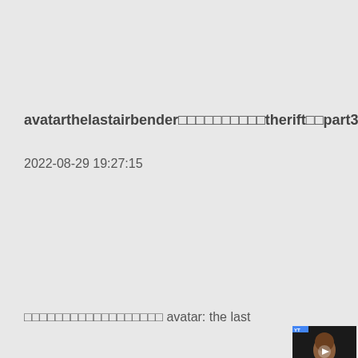avatarthelastairbender□□□□□□□□□□therift□□part3□□
2022-08-29 19:27:15
□□□□□□□□□□□□□□□□□□ avatar: the last